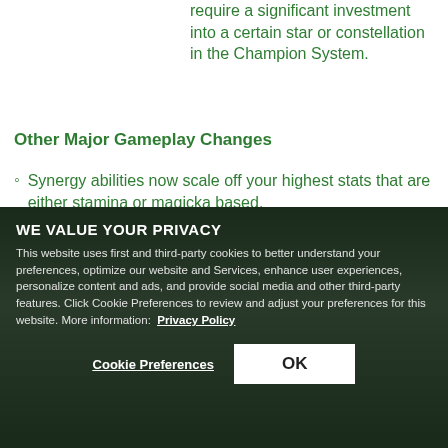require a significant investment into a certain star or constellation in the Champion System.
Other Major Gameplay Changes
Synergy abilities now scale off your highest stats that are either stamina or magicka based.
WE VALUE YOUR PRIVACY
This website uses first and third-party cookies to better understand your preferences, optimize our website and Services, enhance user experiences, personalize content and ads, and provide social media and other third-party features. Click Cookie Preferences to review and adjust your preferences for this website. More information: Privacy Policy
Cookie Preferences | OK